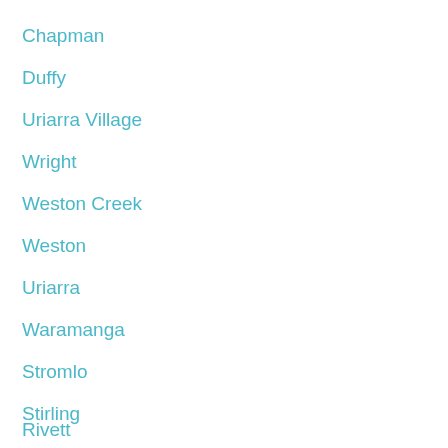Chapman
Duffy
Uriarra Village
Wright
Weston Creek
Weston
Uriarra
Waramanga
Stromlo
Stirling
Rivett